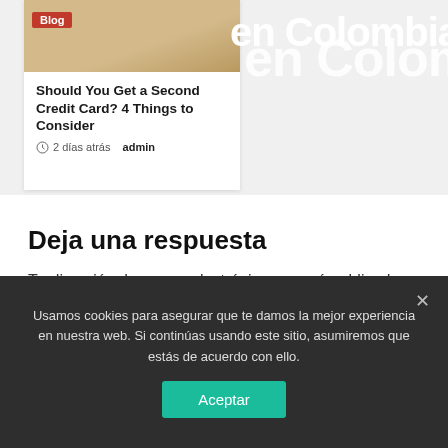[Figure (photo): Blog card with food/arepa image showing 'Blog' red label badge, and large white text 'en Colombia' in background]
Should You Get a Second Credit Card? 4 Things to Consider
2 días atrás  admin
Deja una respuesta
Tu dirección de correo electrónico no será publicada. Los campos obligatorios están marcados
Usamos cookies para asegurar que te damos la mejor experiencia en nuestra web. Si continúas usando este sitio, asumiremos que estás de acuerdo con ello.
Aceptar